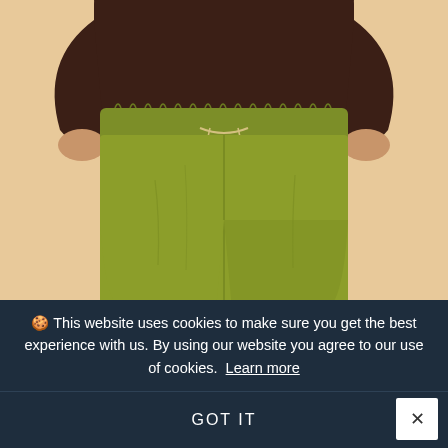[Figure (photo): A person wearing olive green drawstring trousers with an elasticated waistband and a dark brown oversized top. The background is a warm beige/nude tone. The photo is cropped from waist down to upper shins.]
🍪 This website uses cookies to make sure you get the best experience with us. By using our website you agree to our use of cookies. Learn more
GOT IT